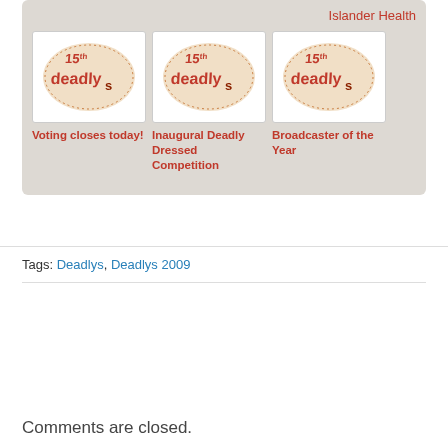Islander Health
[Figure (illustration): 15th Deadlys logo - orange halftone oval with '15th deadly s' text]
Voting closes today!
[Figure (illustration): 15th Deadlys logo - orange halftone oval with '15th deadly s' text]
Inaugural Deadly Dressed Competition
[Figure (illustration): 15th Deadlys logo - orange halftone oval with '15th deadly s' text]
Broadcaster of the Year
Tags: Deadlys, Deadlys 2009
Comments are closed.